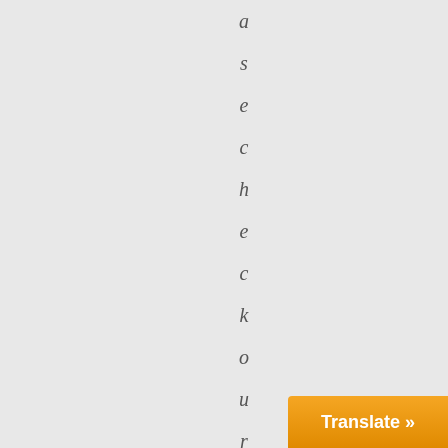a s e c h e c k o u r n e w s b l o g f o r a n
Translate »